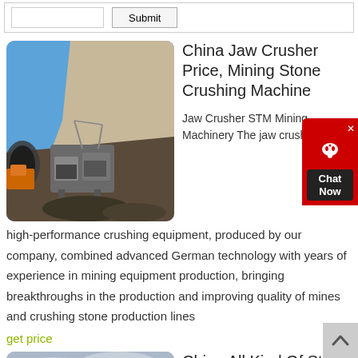[Figure (screenshot): Top bar with text input and Submit button inside a bordered box]
[Figure (photo): Outdoor photo of a jaw crusher machine at a mining/stone crushing site with blue sky and rocky terrain in the background]
China Jaw Crusher Price, Mining Stone Crushing Machine
Jaw Crusher STM Mining Machinery The jaw crusher is high-performance crushing equipment, produced by our company, combined advanced German technology with years of experience in mining equipment production, bringing breakthroughs in the production and improving quality of mines and crushing stone production lines
get price
[Figure (photo): Outdoor photo of a stone crusher machine (yellow/orange equipment) with cloudy sky in background]
China All Kind Of Stone Crusher Jaw